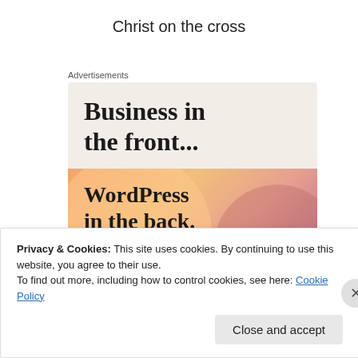Christ on the cross
Advertisements
[Figure (illustration): Advertisement banner: top half shows 'Business in the front...' in bold serif font on a beige/cream background; bottom half shows 'WordPress in the back.' in bold serif font on a colorful gradient background with orange, pink, and mauve circular shapes.]
Privacy & Cookies: This site uses cookies. By continuing to use this website, you agree to their use.
To find out more, including how to control cookies, see here: Cookie Policy
Close and accept